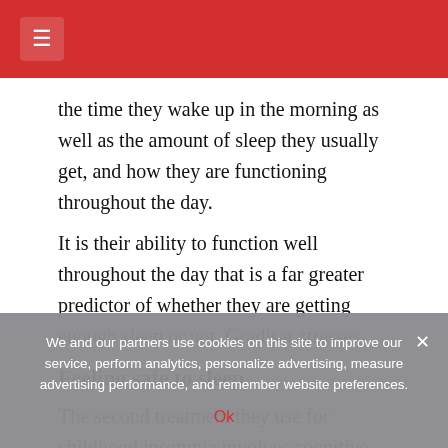☰
the time they wake up in the morning as well as the amount of sleep they usually get, and how they are functioning throughout the day.
It is their ability to function well throughout the day that is a far greater predictor of whether they are getting enough sleep or not, Gradisar stresses.
Feeling safe to sleep
The second treatment they use for childhood insomnia involves cognitive and exposure therapy.
“We examine their fears and try to replace them with
We and our partners use cookies on this site to improve our service, perform analytics, personalize advertising, measure advertising performance, and remember website preferences.
Ok